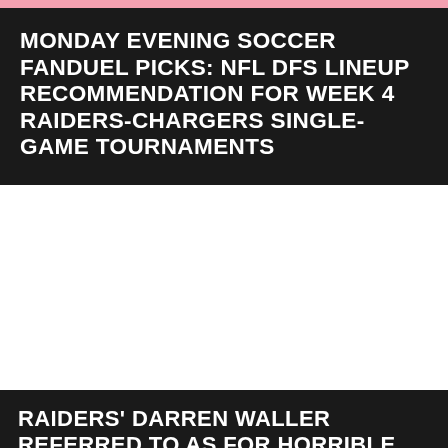MONDAY EVENING SOCCER FANDUEL PICKS: NFL DFS LINEUP RECOMMENDATION FOR WEEK 4 RAIDERS-CHARGERS SINGLE-GAME TOURNAMENTS
RAIDERS' DARREN WALLER REFERRED TO AS FOR HORRIBLE TAUNTING PENALTY AFTER